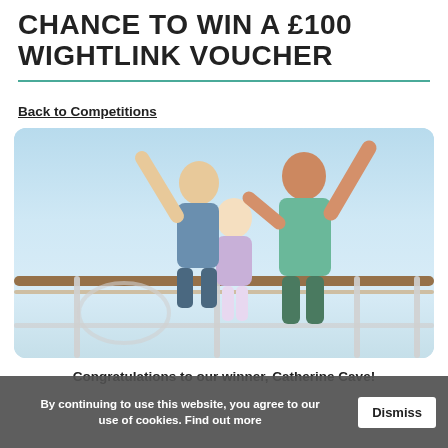CHANCE TO WIN A £100 WIGHTLINK VOUCHER
Back to Competitions
[Figure (photo): A family of three — a man, a woman, and a young girl — standing on a ship's railing/deck with arms raised in celebration against a blue sky background.]
Congratulations to our winner, Catherine Cave!
By continuing to use this website, you agree to our use of cookies. Find out more